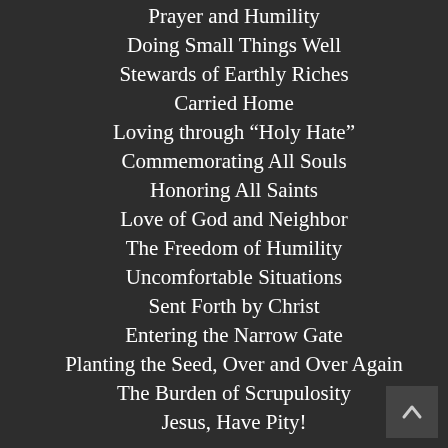Prayer and Humility
Doing Small Things Well
Stewards of Earthly Riches
Carried Home
Loving through “Holy Hate”
Commemorating All Souls
Honoring All Saints
Love of God and Neighbor
The Freedom of Humility
Uncomfortable Situations
Sent Forth by Christ
Entering the Narrow Gate
Planting the Seed, Over and Over Again
The Burden of Scrupulosity
Jesus, Have Pity!